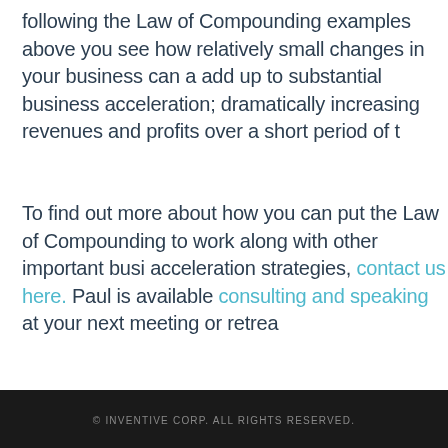following the Law of Compounding examples above you see how relatively small changes in your business can add up to substantial business acceleration; dramatically increasing revenues and profits over a short period of time.
To find out more about how you can put the Law of Compounding to work along with other important business acceleration strategies, contact us here. Paul is available for consulting and speaking at your next meeting or retreat.
© INVENTIVE CORP. ALL RIGHTS RESERVED.